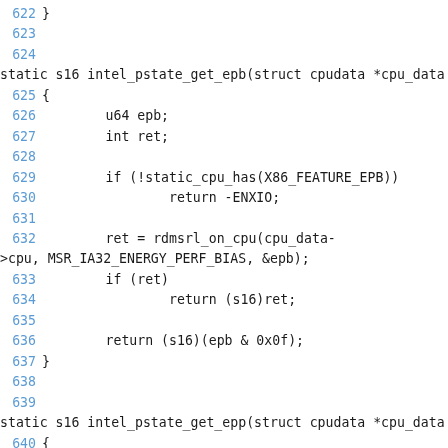[Figure (screenshot): Source code listing showing C functions intel_pstate_get_epb and intel_pstate_get_epp with line numbers 622-643 in blue, code in dark/black monospace font on white background.]